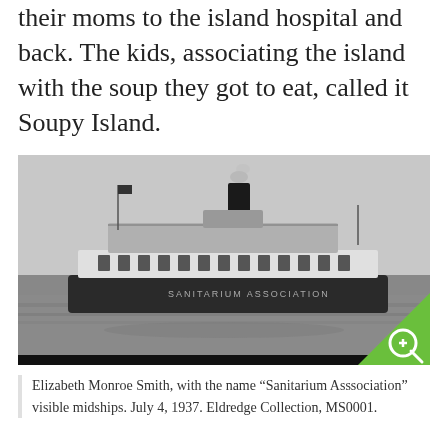their moms to the island hospital and back. The kids, associating the island with the soup they got to eat, called it Soupy Island.
[Figure (photo): Black and white historical photograph of a steamboat named 'Sanitarium Association' on the water, seen from the side with passengers on deck and a smokestack visible. A green zoom icon is in the bottom-right corner.]
Elizabeth Monroe Smith, with the name “Sanitarium Asssociation” visible midships. July 4, 1937. Eldredge Collection, MS0001.